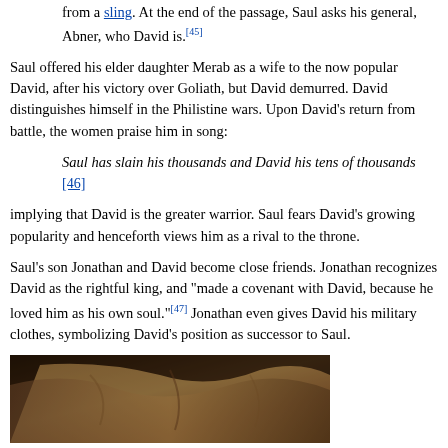from a sling. At the end of the passage, Saul asks his general, Abner, who David is.[45]
Saul offered his elder daughter Merab as a wife to the now popular David, after his victory over Goliath, but David demurred. David distinguishes himself in the Philistine wars. Upon David's return from battle, the women praise him in song:
Saul has slain his thousands and David his tens of thousands [46]
implying that David is the greater warrior. Saul fears David's growing popularity and henceforth views him as a rival to the throne.
Saul's son Jonathan and David become close friends. Jonathan recognizes David as the rightful king, and "made a covenant with David, because he loved him as his own soul."[47] Jonathan even gives David his military clothes, symbolizing David's position as successor to Saul.
[Figure (photo): A dark painting showing draped fabric/clothing in brown and gold tones, appearing to be a detail from a classical artwork.]